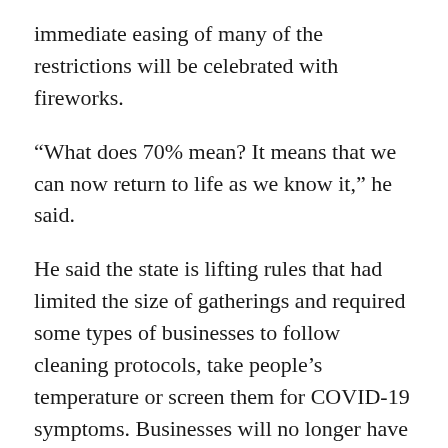immediate easing of many of the restrictions will be celebrated with fireworks.
“What does 70% mean? It means that we can now return to life as we know it,” he said.
He said the state is lifting rules that had limited the size of gatherings and required some types of businesses to follow cleaning protocols, take people’s temperature or screen them for COVID-19 symptoms. Businesses will no longer have to restrict how many people they can allow inside based on the 6-foot rule.
For the time being, though, New Yorkers will have to keep wearing masks in schools, subways and certain other places.